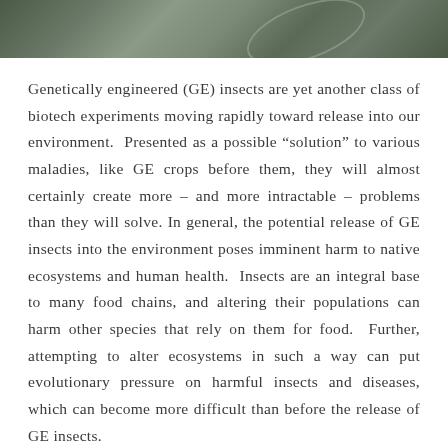[Figure (photo): Close-up photo of green foliage or plant material, dark olive and grey-green tones, partially visible at the top of the page]
Genetically engineered (GE) insects are yet another class of biotech experiments moving rapidly toward release into our environment. Presented as a possible “solution” to various maladies, like GE crops before them, they will almost certainly create more – and more intractable – problems than they will solve. In general, the potential release of GE insects into the environment poses imminent harm to native ecosystems and human health. Insects are an integral base to many food chains, and altering their populations can harm other species that rely on them for food. Further, attempting to alter ecosystems in such a way can put evolutionary pressure on harmful insects and diseases, which can become more difficult than before the release of GE insects.